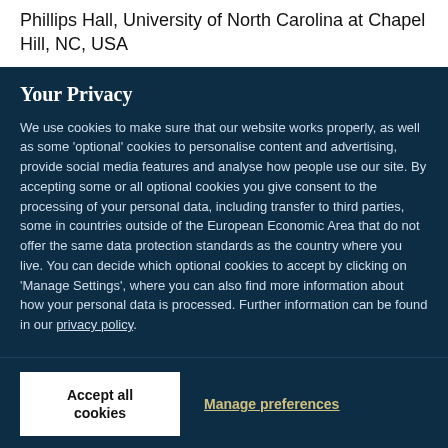Phillips Hall, University of North Carolina at Chapel Hill, NC, USA
Your Privacy
We use cookies to make sure that our website works properly, as well as some 'optional' cookies to personalise content and advertising, provide social media features and analyse how people use our site. By accepting some or all optional cookies you give consent to the processing of your personal data, including transfer to third parties, some in countries outside of the European Economic Area that do not offer the same data protection standards as the country where you live. You can decide which optional cookies to accept by clicking on 'Manage Settings', where you can also find more information about how your personal data is processed. Further information can be found in our privacy policy.
Accept all cookies
Manage preferences